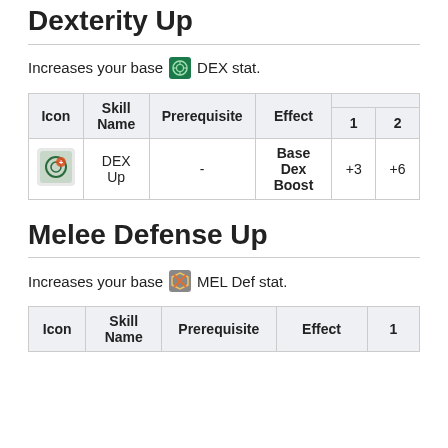Dexterity Up
Increases your base DEX stat.
| Icon | Skill Name | Prerequisite | Effect | 1 | 2 |
| --- | --- | --- | --- | --- | --- |
| [icon] | DEX Up | - | Base Dex Boost | +3 | +6 |
Melee Defense Up
Increases your base MEL Def stat.
| Icon | Skill Name | Prerequisite | Effect | 1 |
| --- | --- | --- | --- | --- |